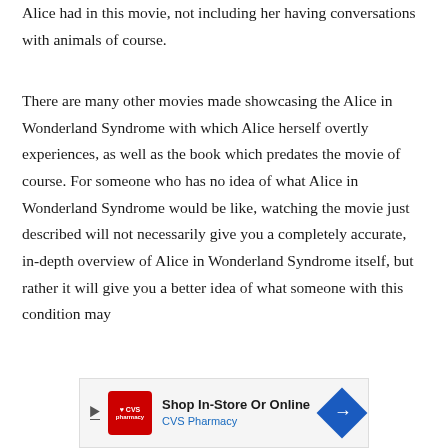Alice had in this movie, not including her having conversations with animals of course.
There are many other movies made showcasing the Alice in Wonderland Syndrome with which Alice herself overtly experiences, as well as the book which predates the movie of course. For someone who has no idea of what Alice in Wonderland Syndrome would be like, watching the movie just described will not necessarily give you a completely accurate, in-depth overview of Alice in Wonderland Syndrome itself, but rather it will give you a better idea of what someone with this condition may
[Figure (other): CVS Pharmacy advertisement banner: 'Shop In-Store Or Online' with CVS Pharmacy logo and a blue directional arrow sign icon.]